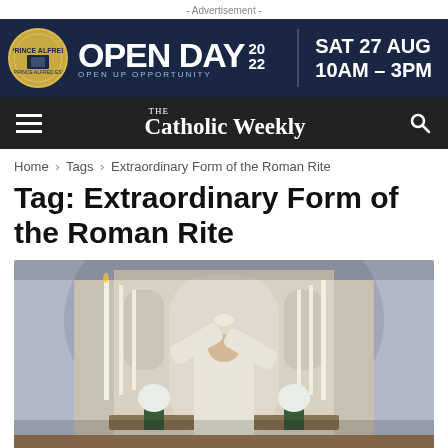- Advertisement -
[Figure (photo): Open Day 2022 advertisement banner: navy blue background with gold circular logo on left, large white bold text OPEN DAY 20/22 with tagline OPEN UP OPPORTUNITY, divider, then SAT 27 AUG / 10AM - 3PM on right]
The Catholic Weekly — navigation bar with hamburger menu and search icon
Home › Tags › Extraordinary Form of the Roman Rite
Tag: Extraordinary Form of the Roman Rite
[Figure (photo): Photograph of a Catholic priest in white vestments elevating the host at an ornate Gothic altar with tall candles and floral arrangements during a traditional Latin Mass]